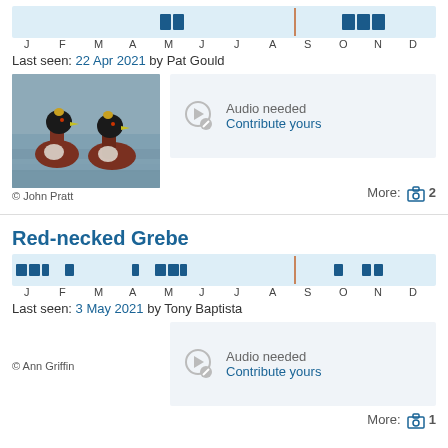[Figure (infographic): Monthly occurrence calendar bar chart for a grebe species, showing dark blue bars in May and October-November periods, with an orange vertical line near September]
Last seen: 22 Apr 2021 by Pat Gould
[Figure (photo): Two grebes swimming on water, with golden crests visible]
© John Pratt
[Figure (infographic): Audio needed - Contribute yours]
More: 2
Red-necked Grebe
[Figure (infographic): Monthly occurrence calendar bar chart for Red-necked Grebe, showing dark blue bars in January, February, April, May, October, November periods, with an orange vertical line near September]
Last seen: 3 May 2021 by Tony Baptista
© Ann Griffin
[Figure (infographic): Audio needed - Contribute yours]
More: 1